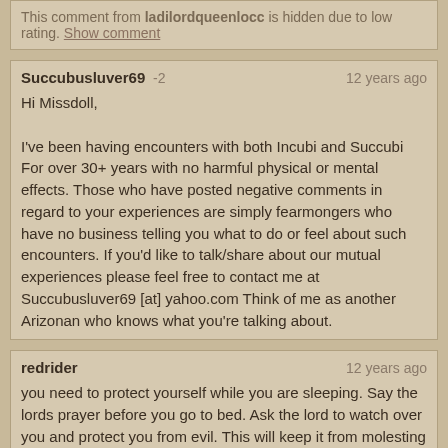This comment from ladilordqueenlocc is hidden due to low rating. Show comment
Succubusluver69 -2 | 12 years ago

Hi Missdoll,

I've been having encounters with both Incubi and Succubi For over 30+ years with no harmful physical or mental effects. Those who have posted negative comments in regard to your experiences are simply fearmongers who have no business telling you what to do or feel about such encounters. If you'd like to talk/share about our mutual experiences please feel free to contact me at Succubusluver69 [at] yahoo.com Think of me as another Arizonan who knows what you're talking about.
redrider | 12 years ago

you need to protect yourself while you are sleeping. Say the lords prayer before you go to bed. Ask the lord to watch over you and protect you from evil. This will keep it from molesting you while you sleep. You have to allow it into your space. It is part of the free will thing. If you allow it in and not fight it, you will have to answere for your actions later. In the long run, it